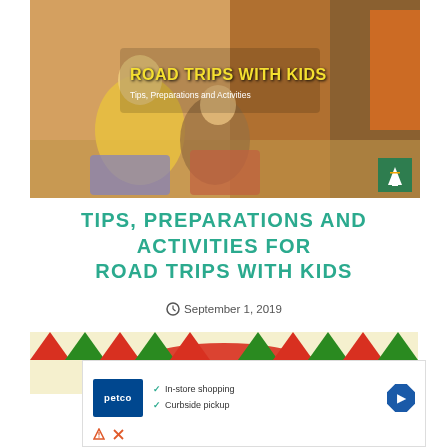[Figure (photo): Hero image of children packing luggage into a car trunk, overlaid with text 'ROAD TRIPS WITH KIDS' in yellow and 'Tips, Preparations and Activities' in white]
TIPS, PREPARATIONS AND ACTIVITIES FOR ROAD TRIPS WITH KIDS
September 1, 2019
[Figure (illustration): Colorful banner with red and green bunting/pennant triangles on a cream/yellow background with a red arch shape]
[Figure (other): Advertisement for Petco showing logo, checkmarks for 'In-store shopping' and 'Curbside pickup', and a navigation arrow icon]